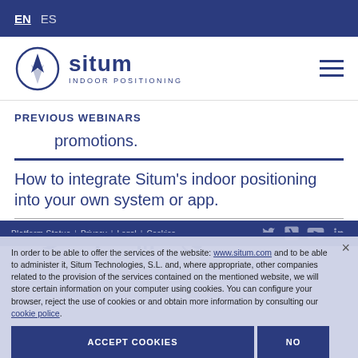EN  ES
[Figure (logo): Situm Indoor Positioning logo with compass circle icon]
PREVIOUS WEBINARS
promotions.
How to integrate Situm's indoor positioning into your own system or app.
[Figure (infographic): Social sharing icons: Twitter, Facebook, LinkedIn, WhatsApp]
Platform Status | Privacy | Legal | Cookies
In order to be able to offer the services of the website: www.situm.com and to be able to administer it, Situm Technologies, S.L. and, where appropriate, other companies related to the provision of the services contained on the mentioned website, we will store certain information on your computer using cookies. You can configure your browser, reject the use of cookies or and obtain more information by consulting our cookie police.